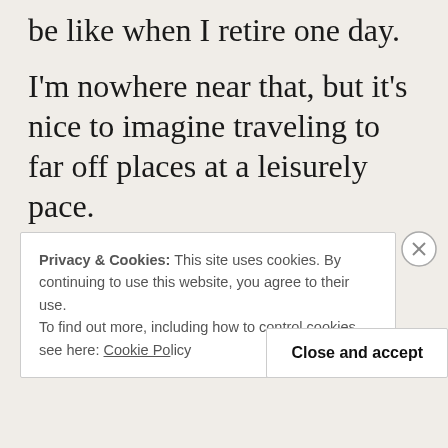be like when I retire one day.
I'm nowhere near that, but it's nice to imagine traveling to far off places at a leisurely pace.
Daydreams.
Privacy & Cookies: This site uses cookies. By continuing to use this website, you agree to their use.
To find out more, including how to control cookies, see here: Cookie Policy
Close and accept